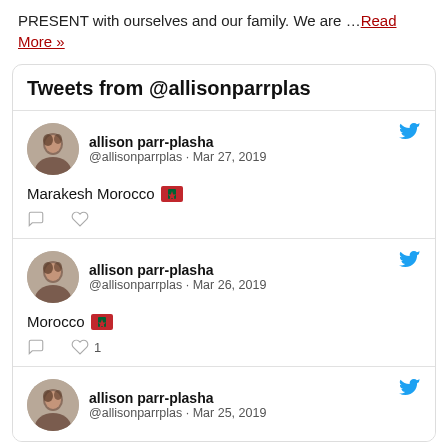PRESENT with ourselves and our family. We are ... Read More »
Tweets from @allisonparrplas
allison parr-plasha @allisonparrplas · Mar 27, 2019 Marakesh Morocco 🇲🇦
allison parr-plasha @allisonparrplas · Mar 26, 2019 Morocco 🇲🇦 ❤ 1
allison parr-plasha @allisonparrplas · Mar 25, 2019